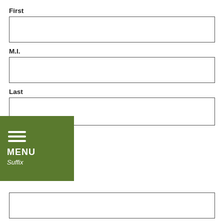First
M.I.
Last
[Figure (other): Green navigation menu overlay with hamburger icon, MENU text, and 'Suffix' label]
Suffix
JCLC Library Card Number (14-digit) *
0 of 14 max characters